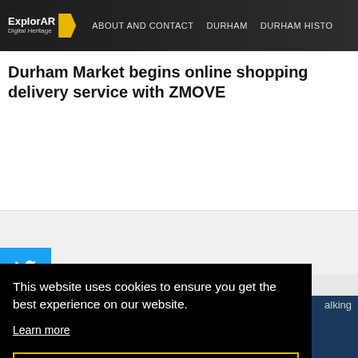ExplorAR Digital Heritage | ABOUT AND CONTACT | DURHAM | DURHAM HISTO
Durham Market begins online shopping delivery service with ZMOVE
[Figure (screenshot): Twitter/social share button (blue bird icon)]
This website uses cookies to ensure you get the best experience on our website.
Learn more
Got it!
When will New Elvet Bridge reopen in Durham?